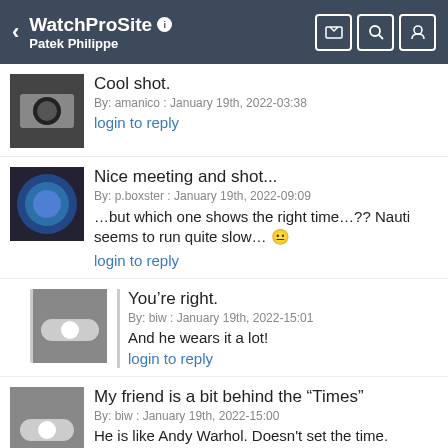WatchProSite  Patek Philippe
Cool shot.
By: amanico : January 19th, 2022-03:38
login to reply
Nice meeting and shot...
By: p.boxster : January 19th, 2022-09:09
...but which one shows the right time...?? Nauti seems to run quite slow... 😐
login to reply
You're right.
By: biw : January 19th, 2022-15:01
And he wears it a lot!
login to reply
My friend is a bit behind the "Times"
By: biw : January 19th, 2022-15:00
He is like Andy Warhol. Doesn't set the time.
login to reply